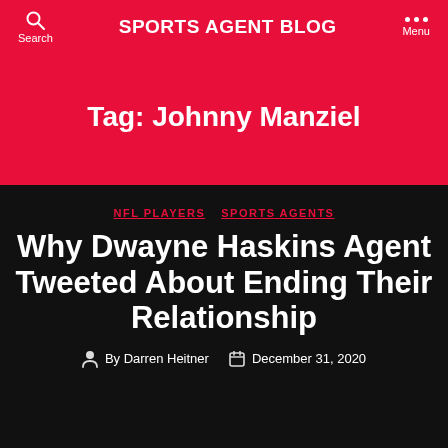SPORTS AGENT BLOG
Tag: Johnny Manziel
NFL PLAYERS  SPORTS AGENTS
Why Dwayne Haskins Agent Tweeted About Ending Their Relationship
By Darren Heitner  December 31, 2020